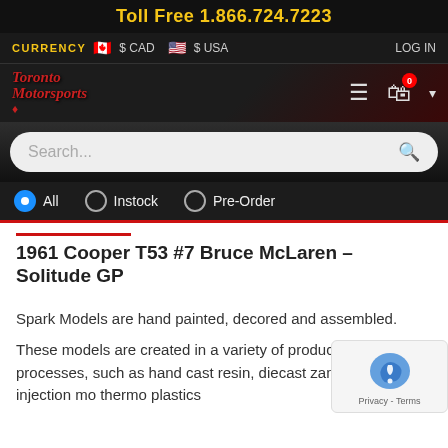Toll Free 1.866.724.7223
CURRENCY  $ CAD  $ USA  LOG IN
[Figure (logo): Toronto Motorsports logo with red script text and maple leaf, with hamburger menu, cart icon with 0 badge, and dropdown arrow]
Search...
All  Instock  Pre-Order
1961 Cooper T53 #7 Bruce McLaren – Solitude GP
Spark Models are hand painted, decored and assembled.
These models are created in a variety of production processes, such as hand cast resin, diecast zamak and injection mo thermo plastics
[Figure (other): reCAPTCHA widget with Privacy - Terms text]